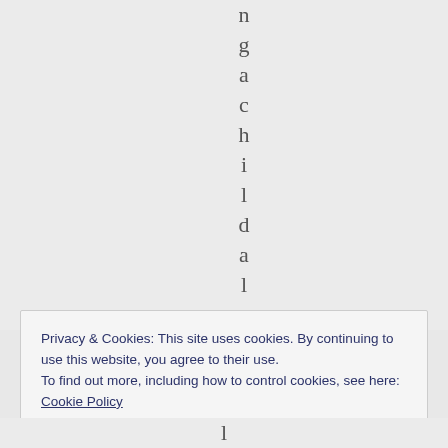n g a c h i l d a l
Privacy & Cookies: This site uses cookies. By continuing to use this website, you agree to their use.
To find out more, including how to control cookies, see here: Cookie Policy
[Close and accept]
l